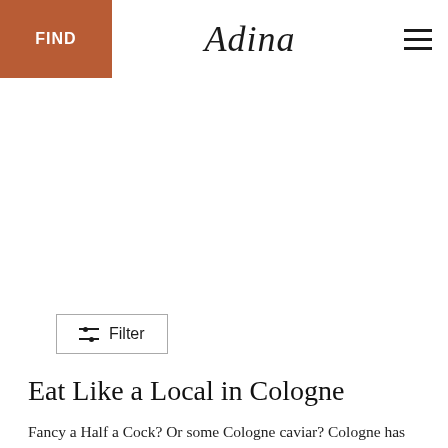FIND | Adina | ≡
[Figure (other): Large white blank image area below the header navigation]
⊟ Filter
Eat Like a Local in Cologne
Fancy a Half a Cock? Or some Cologne caviar? Cologne has almost as many national specialities as Frankfurt has skyscrapers. And choosing what to try can be daunting with meaty dishes like "Himmel und Äd" to vegetarian treats like "Halve Hahn" or desserts like "Mutzenmandeln"